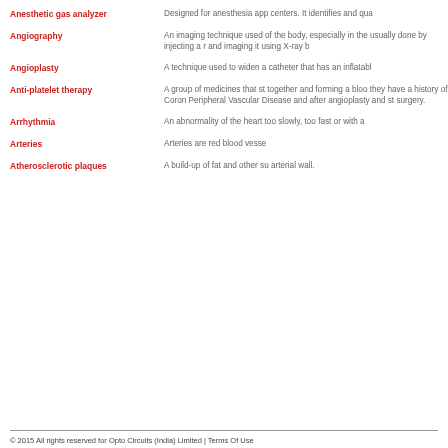Anesthetic gas analyzer: Designed for anesthesia app centers. It identifies and qua
Angiography: An imaging technique used of the body, especially in the usually done by injecting a r and imaging it using X-ray b
Angioplasty: A technique used to widen a catheter that has an inflatabl
Anti-platelet therapy: A group of medicines that st together and forming a bloo they have a history of Coron Peripheral Vascular Disease and after angioplasty and st surgery.
Arrhythmia: An abnormality of the heart too slowly, too fast or with a
Arteries: Arteries are red blood vesse
Atherosclerotic plaques: A build-up of fat and other su arterial wall.
© 2015 All rights reserved for Opto Circuits (India) Limited | Terms Of Use